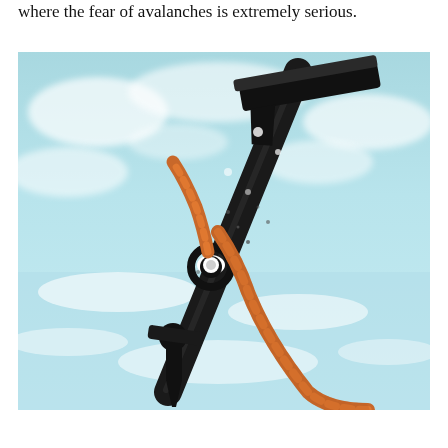where the fear of avalanches is extremely serious.
[Figure (photo): Close-up photograph of a black ice climbing tool (ice axe or crampon component) with an orange braided rope attached, resting on snow and ice in an outdoor alpine setting.]